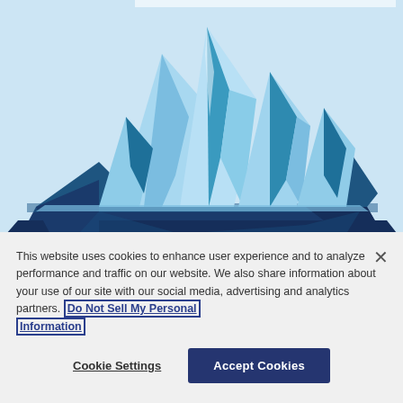[Figure (illustration): Stylized geometric iceberg illustration in shades of light blue, cyan, and dark navy blue, on a light blue sky background. The iceberg has angular faceted shapes above and below a waterline.]
This website uses cookies to enhance user experience and to analyze performance and traffic on our website. We also share information about your use of our site with our social media, advertising and analytics partners. Do Not Sell My Personal Information
Cookie Settings
Accept Cookies